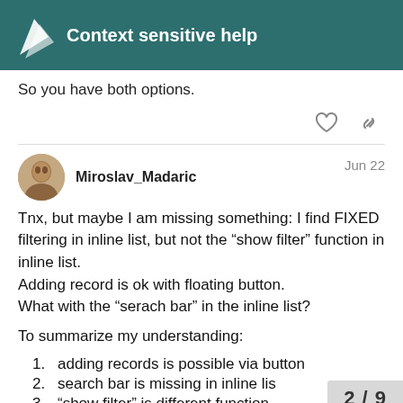Context sensitive help
So you have both options.
Miroslav_Madaric   Jun 22
Tnx, but maybe I am missing something: I find FIXED filtering in inline list, but not the “show filter” function in inline list.
Adding record is ok with floating button.
What with the “serach bar” in the inline list?

To summarize my understanding:
adding records is possible via button
search bar is missing in inline lis
“show filter” is different function
2 / 9